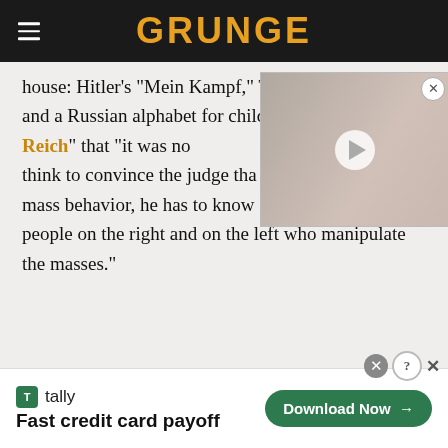GRUNGE
house: Hitler's "Mein Kampf," Trotzky's "My Life," and a Russian alphabet for children. "Wilhelm Reich" that "it was no think to convince the judge that mass behavior, he has to know people on the right and on the left who manipulate the masses."
[Figure (other): Video thumbnail overlay showing a young woman with a play button in the center and a close (X) button in the top right corner]
Fast credit card payoff — Tally — Download Now advertisement